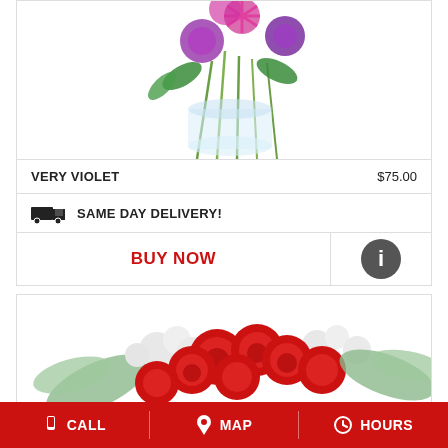[Figure (photo): Purple and violet flower arrangement in a clear glass vase, cropped at top]
VERY VIOLET
$75.00
SAME DAY DELIVERY!
BUY NOW
[Figure (photo): Red roses bouquet arrangement with white filler flowers and green eucalyptus leaves, partially visible]
CALL   MAP   HOURS